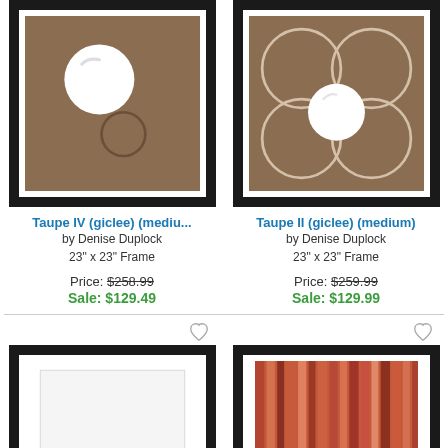[Figure (photo): Framed art print - Taupe IV giclee medium, dark brown/taupe background with white circle and smaller outline circle, black frame]
[Figure (photo): Framed art print - Taupe II giclee medium, dark brown/taupe background with multiple overlapping circle outlines and one filled white circle, black frame]
Taupe IV (giclee) (mediu...
Taupe II (giclee) (medium)
by Denise Duplock
by Denise Duplock
23" x 23" Frame
23" x 23" Frame
Price: $258.99
Sale: $129.49
Price: $259.99
Sale: $129.99
[Figure (photo): Framed art print bottom left - white mat with partial brown circle visible at bottom, black frame]
[Figure (photo): Framed art print bottom right - vertical red/orange/brown stripes pattern, black frame]